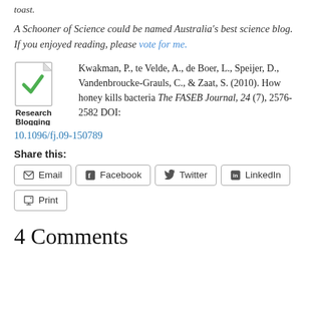toast.
A Schooner of Science could be named Australia's best science blog. If you enjoyed reading, please vote for me.
Kwakman, P., te Velde, A., de Boer, L., Speijer, D., Vandenbroucke-Grauls, C., & Zaat, S. (2010). How honey kills bacteria The FASEB Journal, 24 (7), 2576-2582 DOI: 10.1096/fj.09-150789
Share this:
Email  Facebook  Twitter  LinkedIn  Print
4 Comments